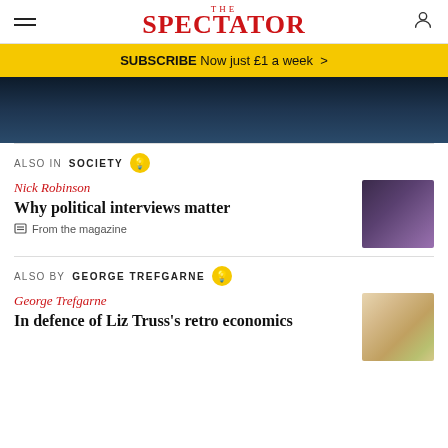THE SPECTATOR
SUBSCRIBE Now just £1 a week >
[Figure (photo): Dark hero image, appears to show a figure in a dark environment]
ALSO IN SOCIETY
Nick Robinson
Why political interviews matter
From the magazine
[Figure (photo): Thumbnail image of a person with a camera]
ALSO BY GEORGE TREFGARNE
George Trefgarne
In defence of Liz Truss's retro economics
[Figure (illustration): Thumbnail image showing scattered banknotes]